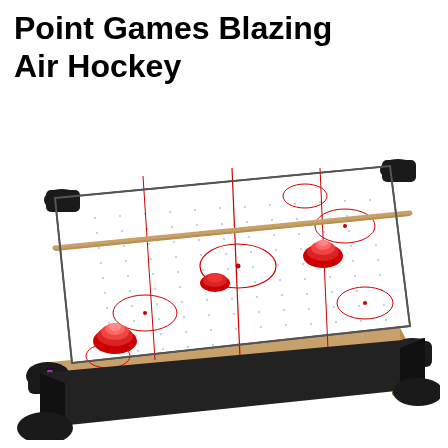Point Games Blazing Air Hockey
[Figure (photo): A tabletop air hockey game set viewed from an angle. The table has a white playing surface with blue dot grid pattern, red circle markings for goal zones and center circle. Two red pushers/mallets are placed on the surface, one near the bottom-left and one toward the upper-right. The table has a wood-grain (tan/brown) side panel and black corner bumpers/handles. LED strip lights are visible along the sides.]